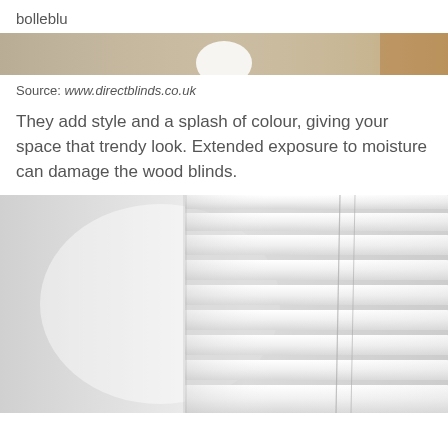bolleblu
[Figure (photo): Partial view of a room with venetian blinds, top strip visible]
Source: www.directblinds.co.uk
They add style and a splash of colour, giving your space that trendy look. Extended exposure to moisture can damage the wood blinds.
[Figure (photo): White wooden venetian blinds with pull cords, close-up view against a light grey/white wall]